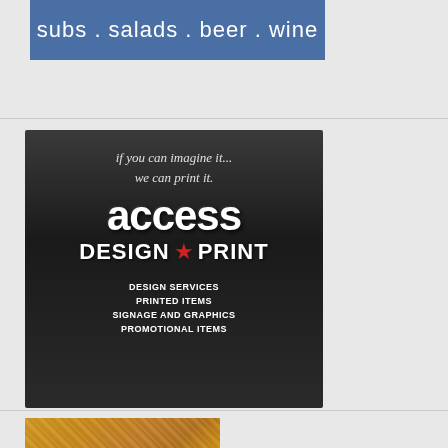[Figure (illustration): Blue banner advertisement with white text reading 'subs . salads . beer . wine']
[Figure (illustration): Access Design & Print advertisement on dark gradient background. Handwritten script tagline reads 'if you can imagine it... we can print it.' followed by large white 'access' text, then 'DESIGN ★ PRINT' with a red star, and bulleted services list: DESIGN SERVICES, PRINTED ITEMS, SIGNAGE AND GRAPHICS, PROMOTIONAL ITEMS]
[Figure (photo): Partial food photo at bottom, showing warm-toned food item (possibly bread or pastry)]